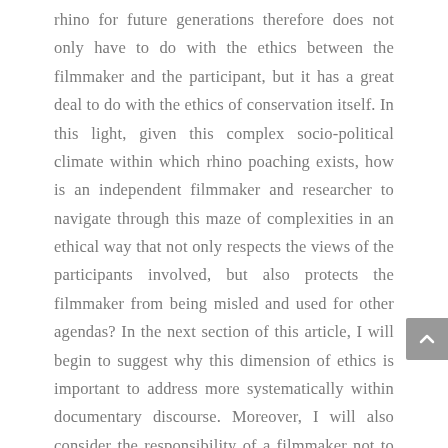rhino for future generations therefore does not only have to do with the ethics between the filmmaker and the participant, but it has a great deal to do with the ethics of conservation itself. In this light, given this complex socio-political climate within which rhino poaching exists, how is an independent filmmaker and researcher to navigate through this maze of complexities in an ethical way that not only respects the views of the participants involved, but also protects the filmmaker from being misled and used for other agendas? In the next section of this article, I will begin to suggest why this dimension of ethics is important to address more systematically within documentary discourse. Moreover, I will also consider the responsibility of a filmmaker not to over-simplify a situation purely for narrative clarity. A new approach to documentary may perhaps allow one to highlight the ebb and flow of